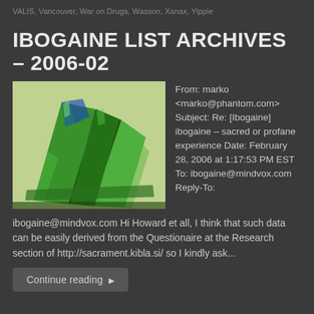VALIS, Vancouver, War on Drugs, Wasson, Xanax, Yippie
IBOGAINE LIST ARCHIVES – 2006-02
[Figure (photo): Close-up macro photograph of green crystalline ibogaine substance, stacked crystal rods with blue and green tones on a light background]
From: marko <marko@phantom.com> Subject: Re: [Ibogaine] ibogaine – sacred or profane experience Date: February 28, 2006 at 1:17:53 PM EST To: ibogaine@mindvox.com Reply-To:
ibogaine@mindvox.com Hi Howard et all, I think that such data can be easily derived from the Questionaire at the Research section of http://sacrament.kibla.si/ so I kindly ask...
Continue reading ▶